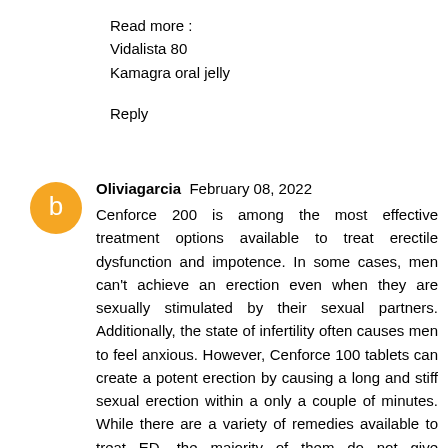Read more :
Vidalista 80
Kamagra oral jelly
Reply
Oliviagarcia  February 08, 2022
Cenforce 200 is among the most effective treatment options available to treat erectile dysfunction and impotence. In some cases, men can't achieve an erection even when they are sexually stimulated by their sexual partners. Additionally, the state of infertility often causes men to feel anxious. However, Cenforce 100 tablets can create a potent erection by causing a long and stiff sexual erection within a only a couple of minutes. While there are a variety of remedies available to treat ED, the majority of them do not give immediate results.
Read More:
Fildena
Fildena 150
Aurogra 100